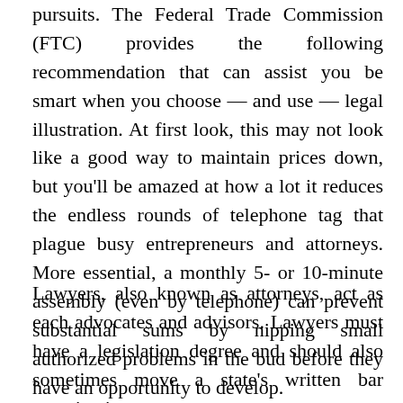pursuits. The Federal Trade Commission (FTC) provides the following recommendation that can assist you be smart when you choose — and use — legal illustration. At first look, this may not look like a good way to maintain prices down, but you'll be amazed at how a lot it reduces the endless rounds of telephone tag that plague busy entrepreneurs and attorneys. More essential, a monthly 5- or 10-minute assembly (even by telephone) can prevent substantial sums by nipping small authorized problems in the bud before they have an opportunity to develop.
Lawyers, also known as attorneys, act as each advocates and advisors. Lawyers must have a legislation degree and should also sometimes move a state's written bar examination.